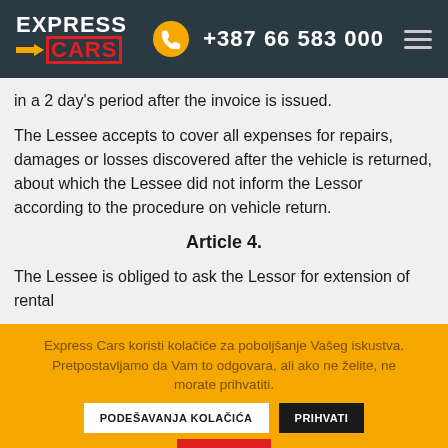EXPRESS CARS | +387 66 583 000
in a 2 day's period after the invoice is issued.
The Lessee accepts to cover all expenses for repairs, damages or losses discovered after the vehicle is returned, about which the Lessee did not inform the Lessor according to the procedure on vehicle return.
Article 4.
The Lessee is obliged to ask the Lessor for extension of rental
Express Cars koristi kolačiće za poboljšanje Vašeg iskustva. Pretpostavljamo da Vam to odgovara, ali ako ne želite, ne morate prihvatiti.
PODEŠAVANJA KOLAČIĆA
PRIHVATI
ODBACI